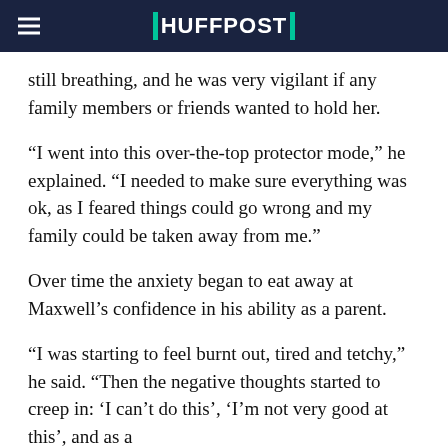HUFFPOST
still breathing, and he was very vigilant if any family members or friends wanted to hold her.
“I went into this over-the-top protector mode,” he explained. “I needed to make sure everything was ok, as I feared things could go wrong and my family could be taken away from me.”
Over time the anxiety began to eat away at Maxwell’s confidence in his ability as a parent.
“I was starting to feel burnt out, tired and tetchy,” he said. “Then the negative thoughts started to creep in: ‘I can’t do this’, ‘I’m not very good at this’, and as a